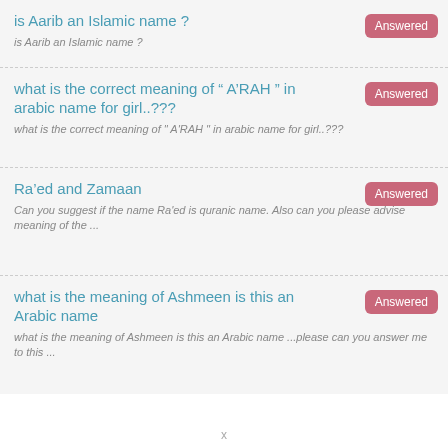is Aarib an Islamic name ?
is Aarib an Islamic name ?
what is the correct meaning of “ A’RAH ” in arabic name for girl..???
what is the correct meaning of " A'RAH " in arabic name for girl..???
Ra’ed and Zamaan
Can you suggest if the name Ra'ed is quranic name. Also can you please advise meaning of the ...
what is the meaning of Ashmeen is this an Arabic name
what is the meaning of Ashmeen is this an Arabic name ...please can you answer me to this ...